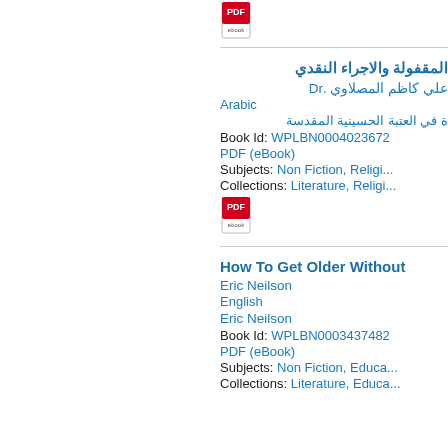[Figure (other): PDF eBook icon]
فيات : المقولة والاجراء النقدي
Dr. علي كاظم المصلاوي
Arabic
ة في العتبة الحسينية المقدسة
Book Id: WPLBN0004023672
PDF (eBook)
Subjects: Non Fiction, Religi...
Collections: Literature, Religi...
[Figure (other): PDF eBook icon]
How To Get Older Without
Eric Neilson
English
Eric Neilson
Book Id: WPLBN0003437482
PDF (eBook)
Subjects: Non Fiction, Educa...
Collections: Literature, Educa...